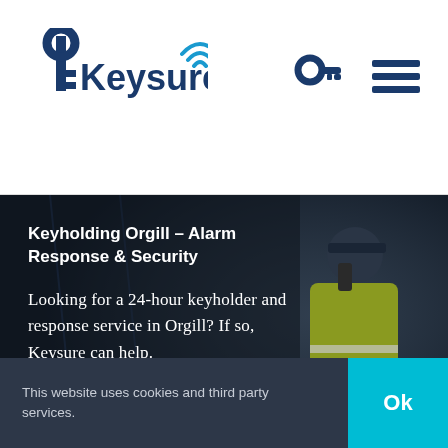[Figure (logo): Keysure logo with key icon and wifi signal waves, dark blue color]
[Figure (other): Dark blue key icon navigation element]
[Figure (other): Hamburger menu icon with three horizontal lines]
Keyholding Orgill - Alarm Response & Security
Looking for a 24-hour keyholder and response service in Orgill? If so, Keysure can help.
[Figure (photo): Security guard in high-visibility yellow jacket speaking on radio, dark background]
This website uses cookies and third party services.